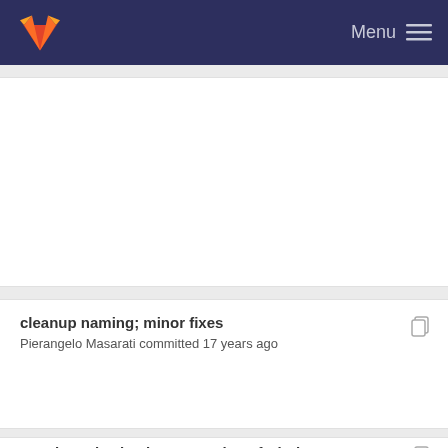Menu
cleanup naming; minor fixes
Pierangelo Masarati committed 17 years ago
consistently check return value of BindParam*; re...
Pierangelo Masarati committed 17 years ago